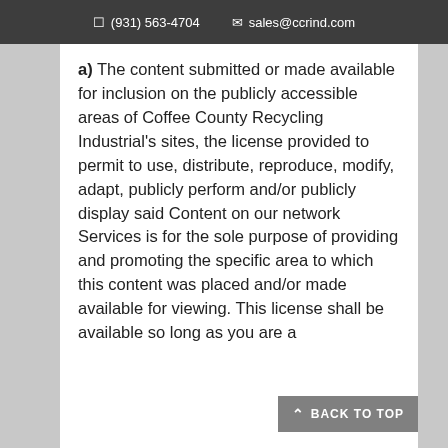(931) 563-4704   sales@ccrind.com
a) The content submitted or made available for inclusion on the publicly accessible areas of Coffee County Recycling Industrial's sites, the license provided to permit to use, distribute, reproduce, modify, adapt, publicly perform and/or publicly display said Content on our network Services is for the sole purpose of providing and promoting the specific area to which this content was placed and/or made available for viewing. This license shall be available so long as you are a